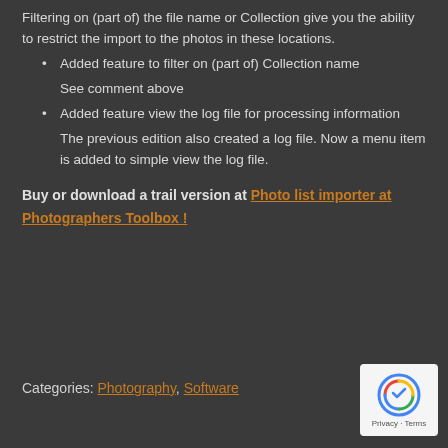Filtering on (part of) the file name or Collection give you the ability to restrict the import to the photos in these locations.
Added feature to filter on (part of) Collection name
See comment above
Added feature view the log file for processing information
The previous edition also created a log file. Now a menu item is added to simple view the log file.
Buy or download a trail version at Photo list importer at Photographers Toolbox !
Categories: Photography, Software
[Figure (logo): reCAPTCHA badge with Privacy and Terms text]